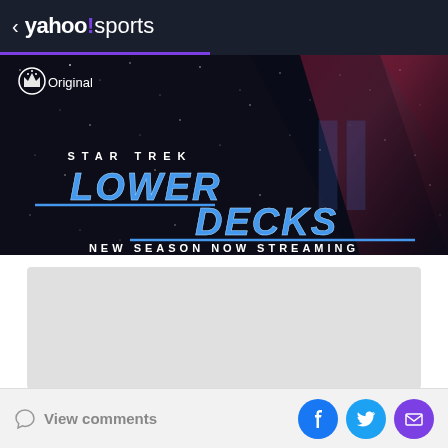< yahoo!sports
[Figure (screenshot): Star Trek Lower Decks Season 2 banner advertisement. Dark space background with stars and diagonal pink/red streaks. Paramount+ logo with 'Original' text in top left. Large translucent Roman numeral II ghost behind the main logo. 'STAR TREK' in small white uppercase letters, 'LOWER DECKS' in large blue stylized font. 'NEW SEASON NOW STREAMING' in white uppercase below.]
[Figure (other): Gray placeholder rectangle for an embedded content card]
[Figure (other): Gray placeholder bar below content card]
View comments